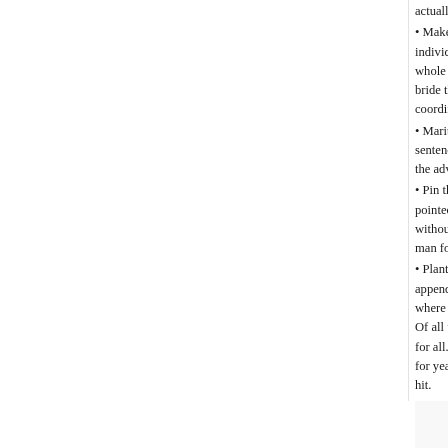• Make a Man – individually. The h whole man. Each bride then gets ea coordinates the siz
• Marital Bliss Sec sentence or two gi the advice and arr
• Pin the Male on t pointed in the gen without peeking. T man for a donkey.
• Plant the Kiss o appendage, the go where it lands. Co Of all the party ga for all. People who for years to come. hit.
Tags: Choosing hens night, Idea
Best Hens N